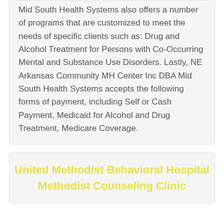Mid South Health Systems also offers a number of programs that are customized to meet the needs of specific clients such as: Drug and Alcohol Treatment for Persons with Co-Occurring Mental and Substance Use Disorders. Lastly, NE Arkansas Community MH Center Inc DBA Mid South Health Systems accepts the following forms of payment, including Self or Cash Payment, Medicaid for Alcohol and Drug Treatment, Medicare Coverage.
United Methodist Behavioral Hospital Methodist Counseling Clinic